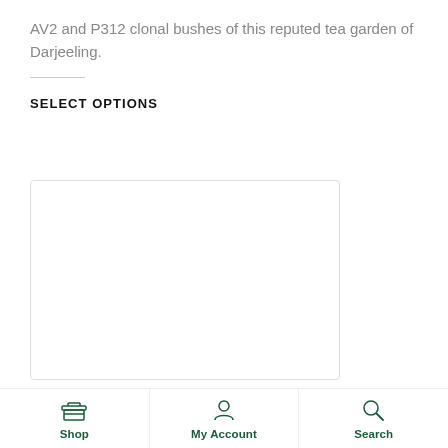AV2 and P312 clonal bushes of this reputed tea garden of Darjeeling.
SELECT OPTIONS
[Figure (other): Empty white rectangular box with rounded corners, representing a product options selection area]
Shop | My Account | Search